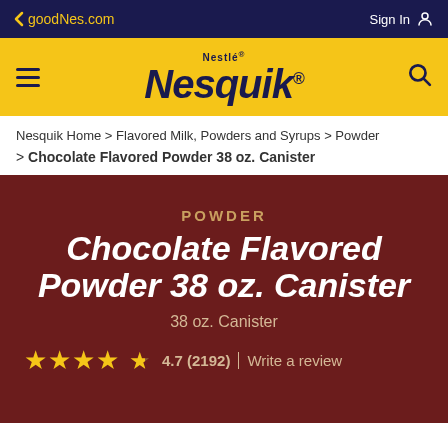goodNes.com   Sign In
[Figure (logo): Nestlé Nesquik logo on yellow background with hamburger menu and search icon]
Nesquik Home > Flavored Milk, Powders and Syrups > Powder
> Chocolate Flavored Powder 38 oz. Canister
POWDER
Chocolate Flavored Powder 38 oz. Canister
38 oz. Canister
4.7 (2192)   Write a review